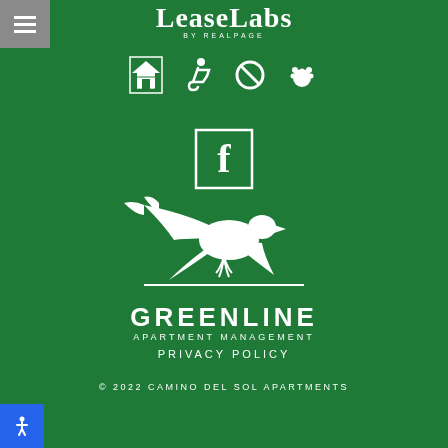[Figure (logo): LeaseLabs by RealPage logo in white text on green background]
[Figure (infographic): Row of four icons: Equal Housing Opportunity, Wheelchair accessible, No smoking/prohibited, Pet friendly paw print — all white on green]
[Figure (logo): Facebook icon in white square box outline]
[Figure (logo): Greenline Apartment Management logo: white bird silhouette (eagle/falcon in flight) above GREENLINE APARTMENT MANAGEMENT text in white]
PRIVACY POLICY
© 2022 CAMINO DEL SOL APARTMENTS